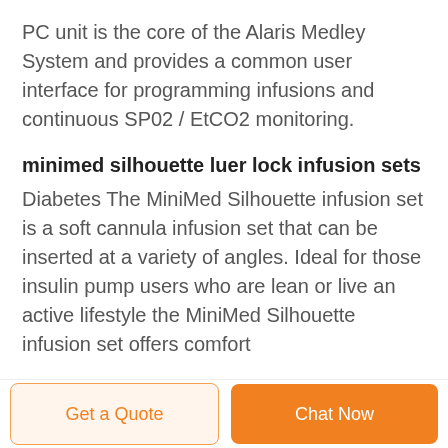PC unit is the core of the Alaris Medley System and provides a common user interface for programming infusions and continuous SP02 / EtCO2 monitoring.
minimed silhouette luer lock infusion sets
Diabetes The MiniMed Silhouette infusion set is a soft cannula infusion set that can be inserted at a variety of angles. Ideal for those insulin pump users who are lean or live an active lifestyle the MiniMed Silhouette infusion set offers comfort
Get a Quote  Chat Now